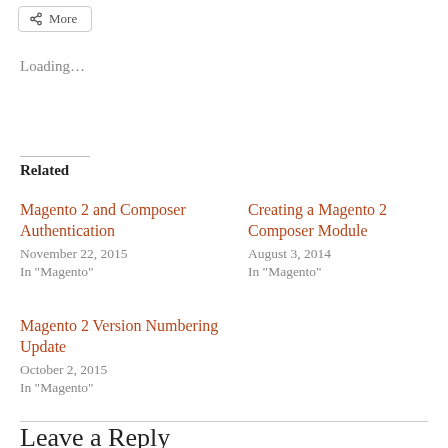More
Loading…
Related
Magento 2 and Composer Authentication
November 22, 2015
In "Magento"
Creating a Magento 2 Composer Module
August 3, 2014
In "Magento"
Magento 2 Version Numbering Update
October 2, 2015
In "Magento"
Leave a Reply
Your email address will not be published. Required fields are